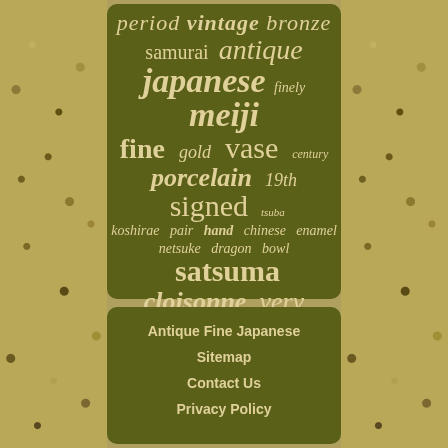[Figure (infographic): Word cloud with antique Japanese collectibles terms on dark olive/green background. Words include: period, vintage, bronze, samurai, antique, japanese, finely, meiji, fine, gold, vase, century, porcelain, 19th, signed, tsuba, koshirae, pair, hand, chinese, enamel, netsuke, dragon, bowl, satsuma, cloisonne, very, sword, wood. Larger words are bolder/more prominent.]
Antique Fine Japanese
Sitemap
Contact Us
Privacy Policy